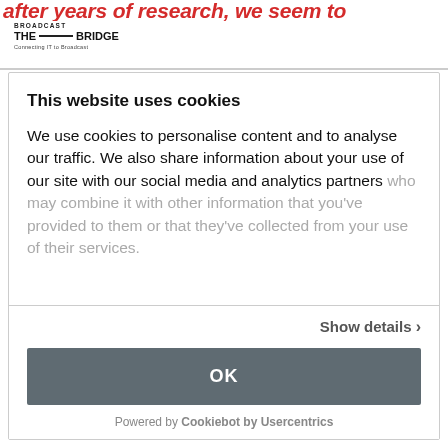after years of research, we seem to
[Figure (logo): Broadcast The Bridge logo - Connecting IT to Broadcast]
This website uses cookies
We use cookies to personalise content and to analyse our traffic. We also share information about your use of our site with our social media and analytics partners who may combine it with other information that you've provided to them or that they've collected from your use of their services.
Show details ›
OK
Powered by Cookiebot by Usercentrics